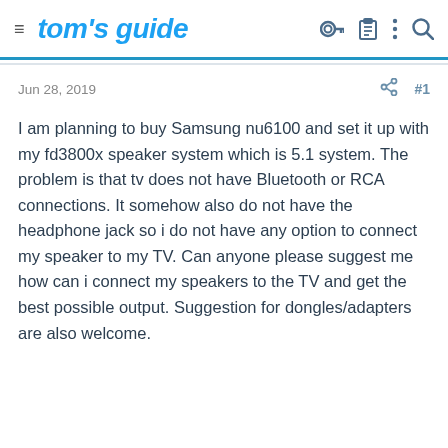tom's guide
Jun 28, 2019
I am planning to buy Samsung nu6100 and set it up with my fd3800x speaker system which is 5.1 system. The problem is that tv does not have Bluetooth or RCA connections. It somehow also do not have the headphone jack so i do not have any option to connect my speaker to my TV. Can anyone please suggest me how can i connect my speakers to the TV and get the best possible output. Suggestion for dongles/adapters are also welcome.